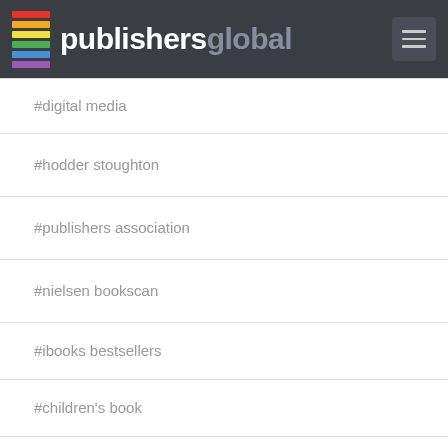publishersglobal
#digital media
#hodder stoughton
#publishers association
#nielsen bookscan
#ibooks bestsellers
#children's book
#graphic novel
#bookseller
#electric literature